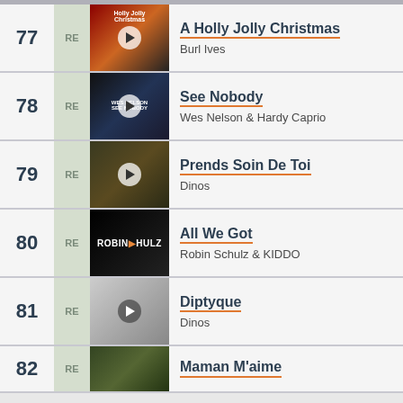77 RE - A Holly Jolly Christmas - Burl Ives
78 RE - See Nobody - Wes Nelson & Hardy Caprio
79 RE - Prends Soin De Toi - Dinos
80 RE - All We Got - Robin Schulz & KIDDO
81 RE - Diptyque - Dinos
82 RE - Maman M'aime - (partial)